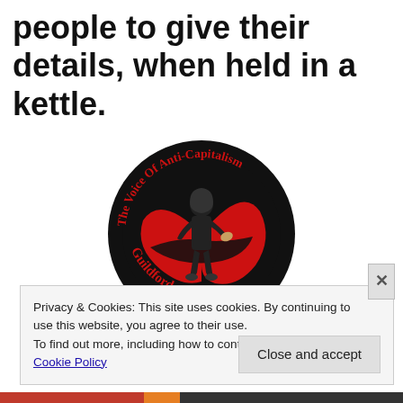people to give their details, when held in a kettle.
[Figure (logo): Circular logo for 'The Voice Of Anti-Capitalism Guildford' featuring a masked figure in black against a red antifa-style flag background, with white and red text around the border.]
Privacy & Cookies: This site uses cookies. By continuing to use this website, you agree to their use.
To find out more, including how to control cookies, see here: Cookie Policy